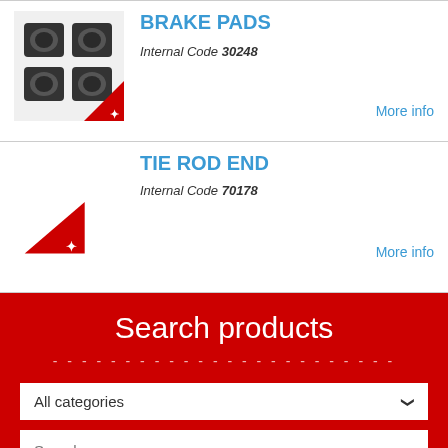[Figure (photo): Brake pads product image with Swiss brand logo in corner]
BRAKE PADS
Internal Code 30248
More info
TIE ROD END
Internal Code 70178
More info
Search products
All categories
Search
search